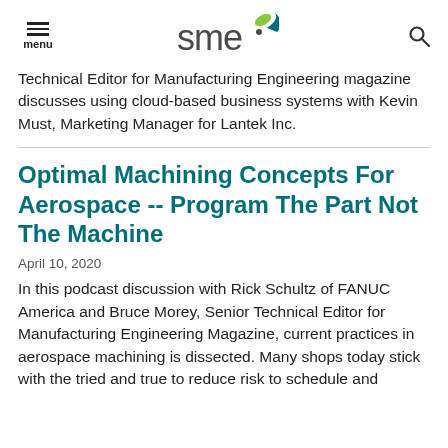menu | SME logo | search
Technical Editor for Manufacturing Engineering magazine discusses using cloud-based business systems with Kevin Must, Marketing Manager for Lantek Inc.
Optimal Machining Concepts For Aerospace -- Program The Part Not The Machine
April 10, 2020
In this podcast discussion with Rick Schultz of FANUC America and Bruce Morey, Senior Technical Editor for Manufacturing Engineering Magazine, current practices in aerospace machining is dissected. Many shops today stick with the tried and true to reduce risk to schedule and profit, but that is changing in technology in the 1960s and...